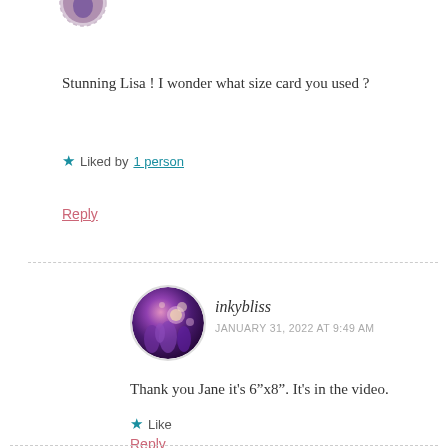[Figure (photo): Partial view of a circular avatar image at the top of the page, partially cropped]
Stunning Lisa ! I wonder what size card you used ?
Liked by 1 person
Reply
[Figure (photo): Circular avatar photo showing purple flowers/lavender with bokeh light effects, profile image for inkybliss]
inkybliss
JANUARY 31, 2022 AT 9:49 AM
Thank you Jane it’s 6”x8”. It’s in the video.
Like
Reply